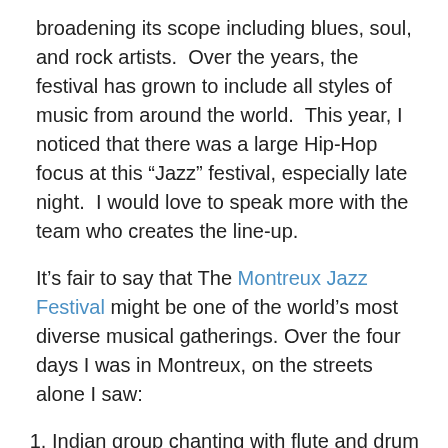broadening its scope including blues, soul, and rock artists.  Over the years, the festival has grown to include all styles of music from around the world.  This year, I noticed that there was a large Hip-Hop focus at this “Jazz” festival, especially late night.  I would love to speak more with the team who creates the line-up.
It’s fair to say that The Montreux Jazz Festival might be one of the world’s most diverse musical gatherings. Over the four days I was in Montreux, on the streets alone I saw:
Indian group chanting with flute and drum accompaniment
Individual John Mayer types with guitars
Japanese dancing and singing
African Tribal dancing and singing